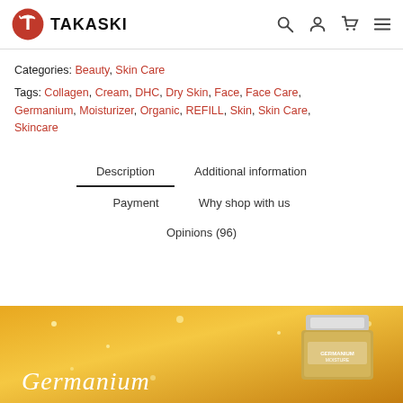TAKASKI
Categories: Beauty, Skin Care
Tags: Collagen, Cream, DHC, Dry Skin, Face, Face Care, Germanium, Moisturizer, Organic, REFILL, Skin, Skin Care, Skincare
Description
Additional information
Payment
Why shop with us
Opinions (96)
[Figure (photo): Product image showing a cream jar on a golden background with the text 'Germanium' in white italic serif font]